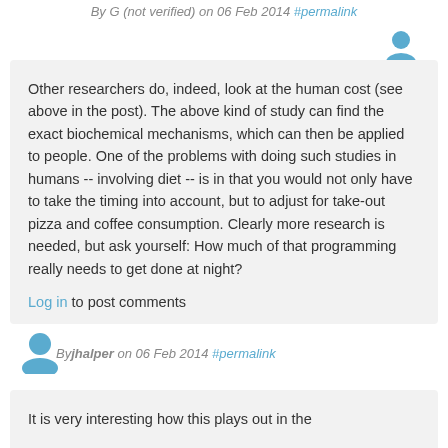By G (not verified) on 06 Feb 2014 #permalink
[Figure (illustration): User avatar icon (blue silhouette), top right]
Other researchers do, indeed, look at the human cost (see above in the post). The above kind of study can find the exact biochemical mechanisms, which can then be applied to people. One of the problems with doing such studies in humans -- involving diet -- is in that you would not only have to take the timing into account, but to adjust for take-out pizza and coffee consumption. Clearly more research is needed, but ask yourself: How much of that programming really needs to get done at night?
Log in to post comments
By jhalper on 06 Feb 2014 #permalink
[Figure (illustration): User avatar icon (blue silhouette), left side]
It is very interesting how this plays out in the